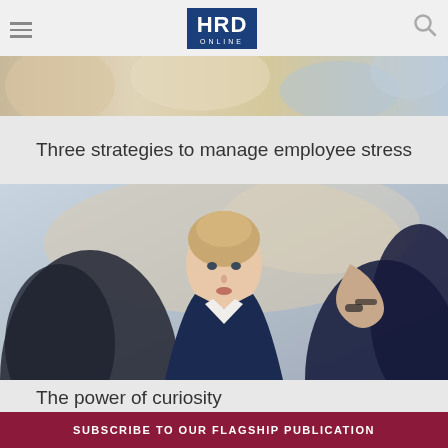HRD ONLINE
[Figure (photo): Partial top crop of a blurred office/meeting scene background image]
Three strategies to manage employee stress
[Figure (photo): A woman with blonde hair in a navy blazer sitting across from another person in a meeting or interview setting, looking thoughtful]
The power of curiosity
SUBSCRIBE TO OUR FLAGSHIP PUBLICATION